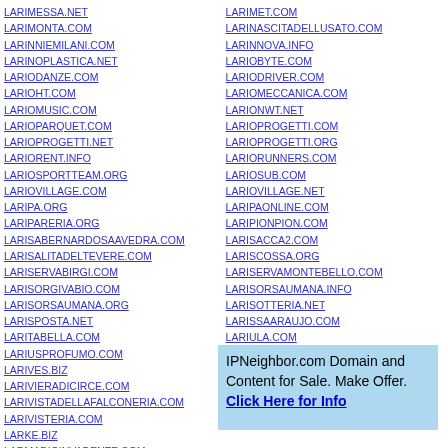LARIMESSA.NET
LARIMONTA.COM
LARINNIEMILANI.COM
LARINOPLASTICA.NET
LARIODANZE.COM
LARIOHT.COM
LARIOMUSIC.COM
LARIOPARQUET.COM
LARIOPROGETTI.NET
LARIORENT.INFO
LARIOSPORTTEAM.ORG
LARIOVILLAGE.COM
LARIPA.ORG
LARIPARERIA.ORG
LARISABERNARDOSAAVEDRA.COM
LARISALITADELTEVERE.COM
LARISERVABIRGI.COM
LARISORGIVABIO.COM
LARISORSAUMANA.ORG
LARISPOSTA.NET
LARITABELLA.COM
LARIUSPROFUMO.COM
LARIVES.BIZ
LARIVIERADICIRCE.COM
LARIVISTADELLAFALCONERIA.COM
LARIVISTERIA.COM
LARKE.BIZ
LARMADIOINVADENTE.COM
LARIMET.COM
LARINASCITADELLUSATO.COM
LARINNOVA.INFO
LARIOBYTE.COM
LARIODRIVER.COM
LARIOMECCANICA.COM
LARIONWT.NET
LARIOPROGETTI.COM
LARIOPROGETTI.ORG
LARIORUNNERS.COM
LARIOSUB.COM
LARIOVILLAGE.NET
LARIPAONLINE.COM
LARIPIONPION.COM
LARISACCA2.COM
LARISCOSSA.ORG
LARISERVAMONTEBELLO.COM
LARISORSAUMANA.INFO
LARISOTTERIA.NET
LARISSAARAUJO.COM
LARIULA.COM
LARIVEGAUCHE.NET
LARIVES.ORG
LARIVISTA.NET
IPNeighbor.com Domain and Content for Sale. Make Offer. Click Here for Info